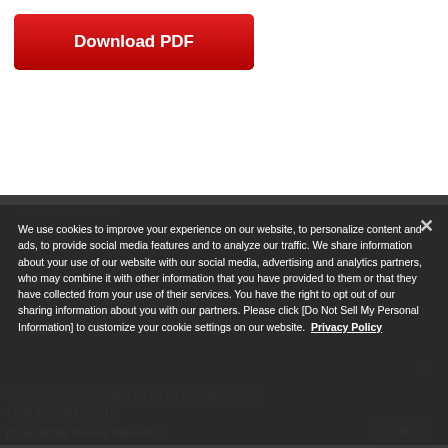[Figure (other): Red Download PDF button]
[Figure (other): Dark background section with Connect with Oki Europe text, social media icons (LinkedIn, YouTube, Twitter, Facebook, Instagram), and PARTNER text]
We use cookies to improve your experience on our website, to personalize content and ads, to provide social media features and to analyze our traffic. We share information about your use of our website with our social media, advertising and analytics partners, who may combine it with other information that you have provided to them or that they have collected from your use of their services. You have the right to opt out of our sharing information about you with our partners. Please click [Do Not Sell My Personal Information] to customize your cookie settings on our website. Privacy Policy
Terms of use|Privacy Policy|Do Not Sell My Personal Information
©1995-2022 Oki Europe Ltd.
Do Not Sell My Personal Information
OK